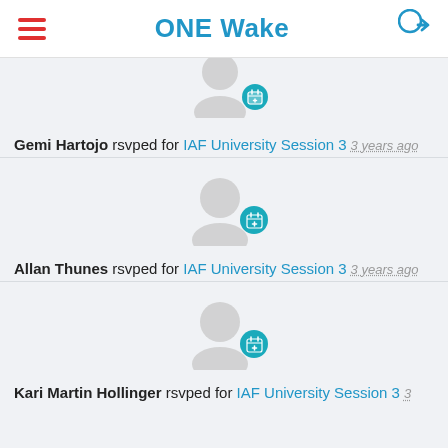ONE Wake
[Figure (illustration): User avatar icon with teal calendar-plus badge overlay (partially visible at top, clipped)]
Gemi Hartojo rsvped for IAF University Session 3   3 years ago
[Figure (illustration): User avatar icon (gray silhouette) with teal calendar-plus badge overlay]
Allan Thunes rsvped for IAF University Session 3   3 years ago
[Figure (illustration): User avatar icon (gray silhouette) with teal calendar-plus badge overlay]
Kari Martin Hollinger rsvped for IAF University Session 3   3 years ago